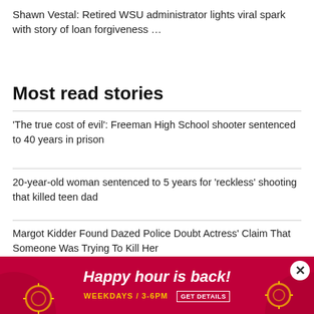Shawn Vestal: Retired WSU administrator lights viral spark with story of loan forgiveness …
Most read stories
'The true cost of evil': Freeman High School shooter sentenced to 40 years in prison
20-year-old woman sentenced to 5 years for 'reckless' shooting that killed teen dad
Margot Kidder Found Dazed Police Doubt Actress' Claim That Someone Was Trying To Kill Her
Survivor, 10, Speaks About Ice Safety He Was Unconscious For 1 Days Af…
[Figure (other): Advertisement banner: 'Happy hour is back! WEEKDAYS / 3-6PM GET DETAILS' on red background with decorative elements and a close button]